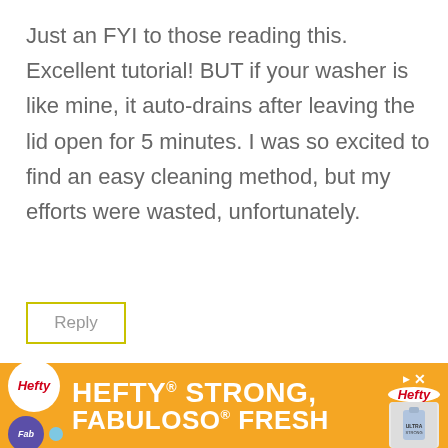Just an FYI to those reading this. Excellent tutorial! BUT if your washer is like mine, it auto-drains after leaving the lid open for 5 minutes. I was so excited to find an easy cleaning method, but my efforts were wasted, unfortunately.
[Figure (other): Reply button with yellow-green border]
[Figure (other): Hefty Strong, Fabuloso Fresh advertisement banner at bottom of page]